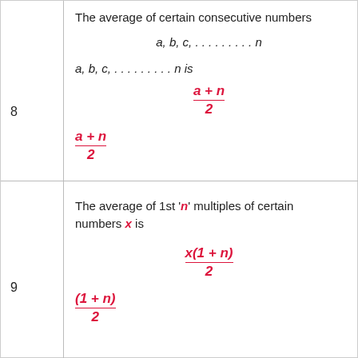8
The average of certain consecutive numbers a, b, c, ………. n
a, b, c, ………. n is
9
The average of 1st 'n' multiples of certain numbers x is